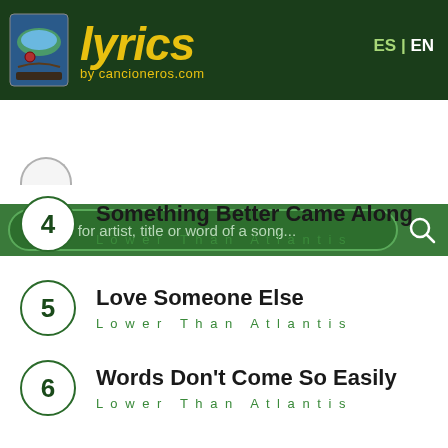[Figure (screenshot): Lyrics by cancioneros.com website header with logo and language switcher ES | EN]
Search for artist, title or word of a song...
4 Something Better Came Along - Lower Than Atlantis
5 Love Someone Else - Lower Than Atlantis
6 Words Don't Come So Easily - Lower Than Atlantis